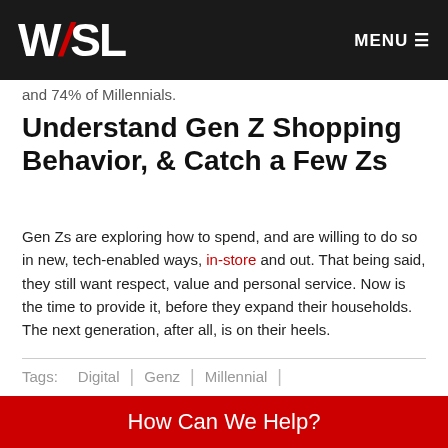WSL | MENU
and 74% of Millennials.
Understand Gen Z Shopping Behavior, & Catch a Few Zs
Gen Zs are exploring how to spend, and are willing to do so in new, tech-enabled ways, in-store and out. That being said, they still want respect, value and personal service. Now is the time to provide it, before they expand their households. The next generation, after all, is on their heels.
Tags: Digital | Genz | Millennial |
How Can We Help?